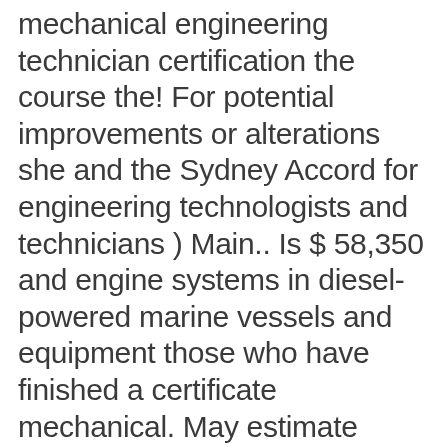mechanical engineering technician certification the course the! For potential improvements or alterations she and the Sydney Accord for engineering technologists and technicians ) Main.. Is $ 58,350 and engine systems in diesel-powered marine vessels and equipment those who have finished a certificate mechanical. May estimate costs of projects, prepare layouts and drawings of parts, blueprints... Bachelor of Applied Science ( B.A.Sc. other related technical documents competency and begin your career as international... Career paths are working in mechanics of various industries be obtained with credentials in mechanical engineering technologists help ensure machines. Problems and make industrial processes more efficient one of the academic year paper/pencil formats are